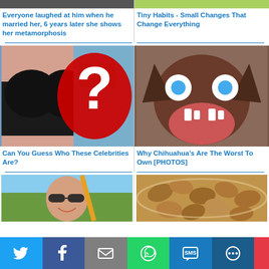[Figure (photo): Top portion of image showing a woman's transformation story]
Everyone laughed at him when he married her, 6 years later she shows her metamorphosis
[Figure (photo): Partial image on right - book cover 'Tiny Habits - Small Changes That Change Everything']
Tiny Habits - Small Changes That Change Everything
[Figure (photo): Woman in black bra with large red question mark overlaid on world map background]
Can You Guess Who These Celebrities Are?
[Figure (photo): Chihuahua dog with wide eyes showing teeth, snarling]
Why Chihuahua's Are The Worst To Own [PHOTOS]
[Figure (photo): Young woman laughing on kayak wearing sunglasses]
[Figure (photo): Bowl of almonds close-up]
[Figure (infographic): Social sharing bar with Twitter, Facebook, Email, WhatsApp, SMS, More buttons]